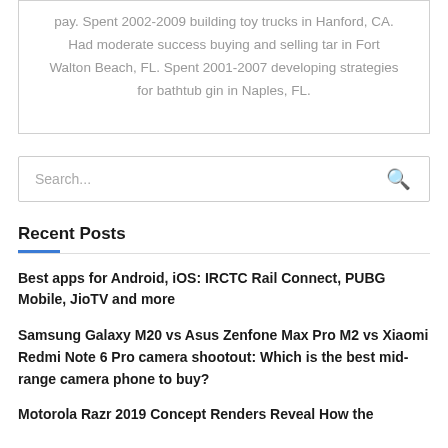pay. Spent 2002-2009 building toy trucks in Hanford, CA. Had moderate success buying and selling tar in Fort Walton Beach, FL. Spent 2001-2007 developing strategies for bathtub gin in Naples, FL.
Search...
Recent Posts
Best apps for Android, iOS: IRCTC Rail Connect, PUBG Mobile, JioTV and more
Samsung Galaxy M20 vs Asus Zenfone Max Pro M2 vs Xiaomi Redmi Note 6 Pro camera shootout: Which is the best mid-range camera phone to buy?
Motorola Razr 2019 Concept Renders Reveal How the